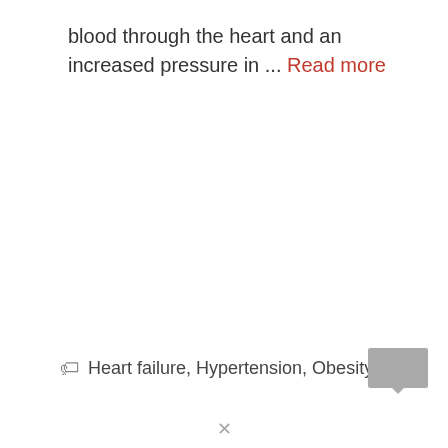blood through the heart and an increased pressure in ... Read more
Heart failure, Hypertension, Obesity